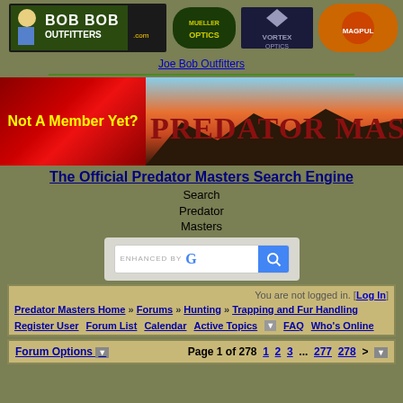[Figure (screenshot): Joe Bob Outfitters banner with Mueller Optics, Vortex Optics, Magpul logos]
Joe Bob Outfitters
[Figure (screenshot): Not A Member Yet? red banner and Predator Masters scenic banner image]
The Official Predator Masters Search Engine
Search Predator Masters
[Figure (screenshot): Google enhanced search box with search button]
You are not logged in. [Log In]
Predator Masters Home » Forums » Hunting » Trapping and Fur Handling
Register User   Forum List   Calendar   Active Topics   FAQ   Who's Online
Forum Options   Page 1 of 278  1  2  3  ...  277  278  >